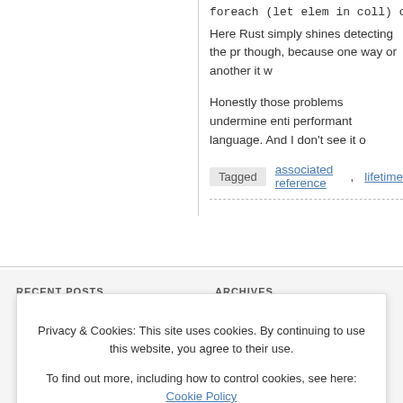foreach (let elem in coll)
    coll.clear();
Here Rust simply shines detecting the pr though, because one way or another it w
Honestly those problems undermine enti performant language. And I don't see it o
Tagged  associated reference,  lifetime
RECENT POSTS
ARCHIVES
Privacy & Cookies: This site uses cookies. By continuing to use this website, you agree to their use. To find out more, including how to control cookies, see here: Cookie Policy
Close and accept
Extending generic types with traits
January 2016